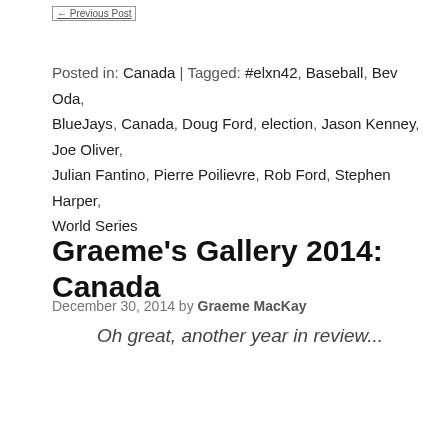← Previous Post
Posted in: Canada | Tagged: #elxn42, Baseball, Bev Oda, BlueJays, Canada, Doug Ford, election, Jason Kenney, Joe Oliver, Julian Fantino, Pierre Poilievre, Rob Ford, Stephen Harper, World Series
Graeme's Gallery 2014: Canada
December 30, 2014 by Graeme MacKay
[Figure (illustration): Cartoon image showing the word CANADA in large red text over a collage of illustrations, with caption 'Oh great, another year in review...']